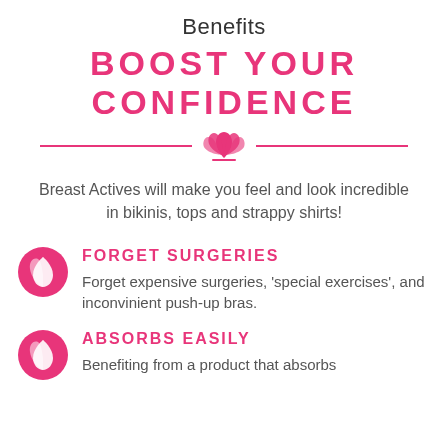Benefits
BOOST YOUR CONFIDENCE
[Figure (illustration): Pink lotus flower icon with horizontal divider lines on each side]
Breast Actives will make you feel and look incredible in bikinis, tops and strappy shirts!
[Figure (illustration): Pink circular icon with a white leaf/feather symbol]
FORGET SURGERIES
Forget expensive surgeries, 'special exercises', and inconvinient push-up bras.
[Figure (illustration): Pink circular icon with a white leaf/feather symbol]
ABSORBS EASILY
Benefiting from a product that absorbs